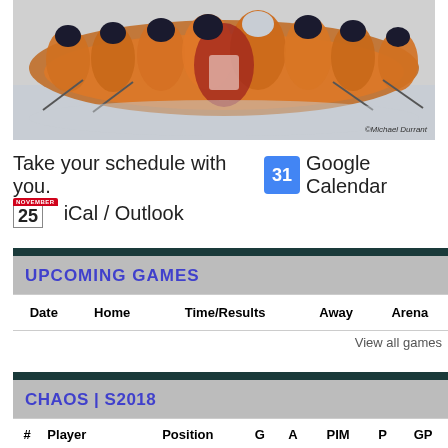[Figure (photo): Hockey team photo in orange uniforms posed together on ice. ©Michael Durrant credit visible bottom right.]
Take your schedule with you.  [Google Calendar icon] Google Calendar
[iCal icon with NOVEMBER / 25]  iCal / Outlook
| Date | Home | Time/Results | Away | Arena |
| --- | --- | --- | --- | --- |
View all games
| # | Player | Position | G | A | PIM | P | GP |
| --- | --- | --- | --- | --- | --- | --- | --- |